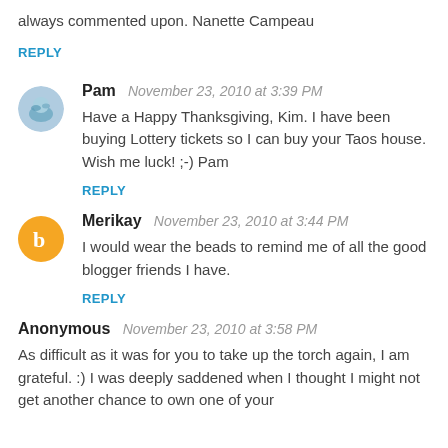always commented upon. Nanette Campeau
REPLY
Pam  November 23, 2010 at 3:39 PM
Have a Happy Thanksgiving, Kim. I have been buying Lottery tickets so I can buy your Taos house. Wish me luck! ;-) Pam
REPLY
Merikay  November 23, 2010 at 3:44 PM
I would wear the beads to remind me of all the good blogger friends I have.
REPLY
Anonymous  November 23, 2010 at 3:58 PM
As difficult as it was for you to take up the torch again, I am grateful. :) I was deeply saddened when I thought I might not get another chance to own one of your